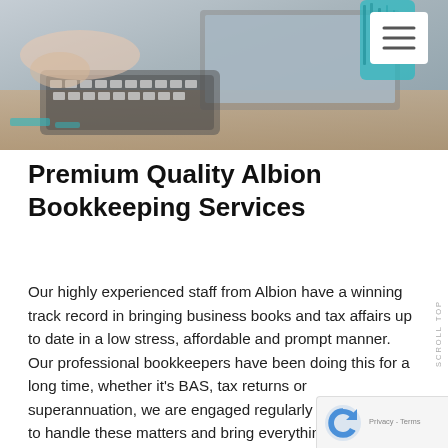[Figure (photo): Photo of a person working at a desk with a keyboard and laptop, with a teal/blue pen holder in the upper right corner. A hamburger menu icon appears in the upper right corner overlaid on the photo.]
Premium Quality Albion Bookkeeping Services
Our highly experienced staff from Albion have a winning track record in bringing business books and tax affairs up to date in a low stress, affordable and prompt manner. Our professional bookkeepers have been doing this for a long time, whether it’s BAS, tax returns or superannuation, we are engaged regularly by new clients to handle these matters and bring everything up to date. The bookkeepers and accountants we employ have a great reputation with the taxation office, so if you have been contacted by the ATO to bring the books and tax date our bookkeeper can make contact with the ta to let them know that we know have the file in hand and